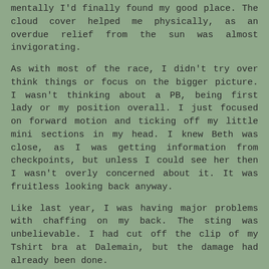mentally I'd finally found my good place. The cloud cover helped me physically, as an overdue relief from the sun was almost invigorating.
As with most of the race, I didn't try over think things or focus on the bigger picture. I wasn't thinking about a PB, being first lady or my position overall. I just focused on forward motion and ticking off my little mini sections in my head. I knew Beth was close, as I was getting information from checkpoints, but unless I could see her then I wasn't overly concerned about it. It was fruitless looking back anyway.
Like last year, I was having major problems with chaffing on my back. The sting was unbelievable. I had cut off the clip of my Tshirt bra at Dalemain, but the damage had already been done.
I kept waiting for someone from the Lakeland 50 to pass me. This year the race was the British Trail Championship and I expected to be passed by someone running at the rate of knots like Ben Aberdour did last year. I suppose bring 30 minutes up on last year's time made the difference.